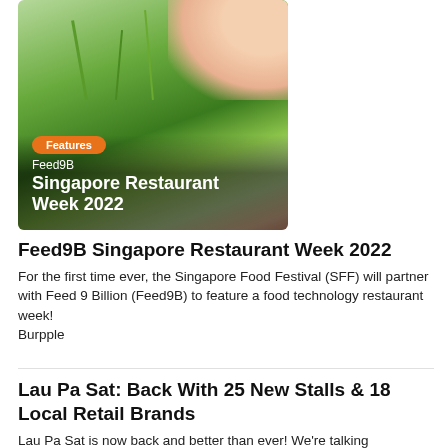[Figure (photo): Close-up photo of green plant sprouts/microgreens being held, with orange 'Features' badge, 'Feed9B' brand label, and title 'Singapore Restaurant Week 2022' overlaid at the bottom]
Feed9B Singapore Restaurant Week 2022
For the first time ever, the Singapore Food Festival (SFF) will partner with Feed 9 Billion (Feed9B) to feature a food technology restaurant week!
Burpple
Lau Pa Sat: Back With 25 New Stalls & 18 Local Retail Brands
Lau Pa Sat is now back and better than ever! We're talking